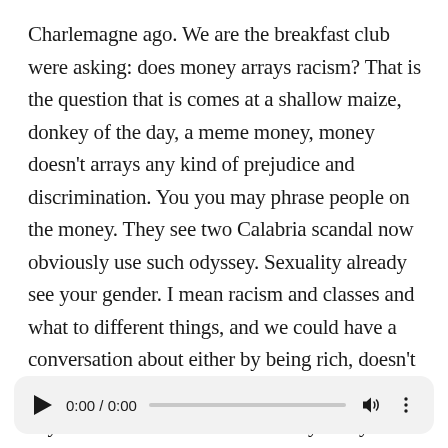Charlemagne ago. We are the breakfast club were asking: does money arrays racism? That is the question that is comes at a shallow maize, donkey of the day, a meme money, money doesn't arrays any kind of prejudice and discrimination. You you may phrase people on the money. They see two Calabria scandal now obviously use such odyssey. Sexuality already see your gender. I mean racism and classes and what to different things, and we could have a conversation about either by being rich, doesn't work you from random acts of prejudice anywhere in the world and is funny that you know the guy was using Oprah Avenue. Apple because, as I played during donkey a day over our spoke to Larry King, once about how she is confronted with racism and ass. She even cited
[Figure (other): Audio player with play button, time display 0:00 / 0:00, progress bar, volume icon, and more options icon]